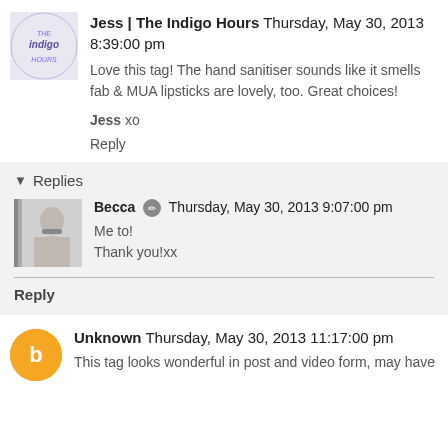Jess | The Indigo Hours  Thursday, May 30, 2013 8:39:00 pm
Love this tag! The hand sanitiser sounds like it smells fab & MUA lipsticks are lovely, too. Great choices!
Jess xo
Reply
Replies
Becca  Thursday, May 30, 2013 9:07:00 pm
Me to!
Thank you!xx
Reply
Unknown  Thursday, May 30, 2013 11:17:00 pm
This tag looks wonderful in post and video form, may have